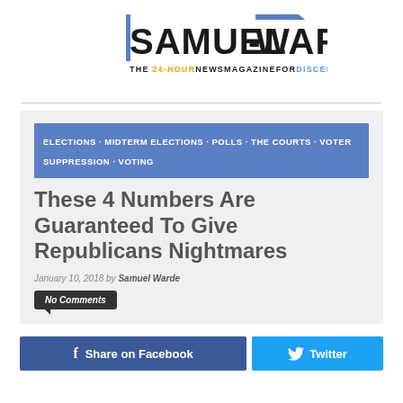[Figure (logo): Samuel-Warde logo: large bold text 'SAMUEL-WARDE' with blue vertical bar accent, tagline 'THE 24-HOUR NEWS MAGAZINE FOR DISCERNING ADULTS']
ELECTIONS · MIDTERM ELECTIONS · POLLS · THE COURTS · VOTER SUPPRESSION · VOTING
These 4 Numbers Are Guaranteed To Give Republicans Nightmares
January 10, 2018 by Samuel Warde
No Comments
Share on Facebook
Twitter